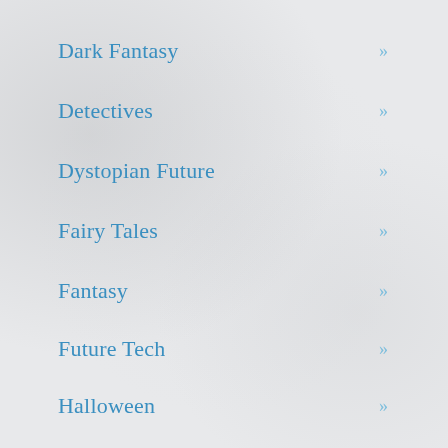Dark Fantasy »
Detectives »
Dystopian Future »
Fairy Tales »
Fantasy »
Future Tech »
Halloween »
High Fantasy »